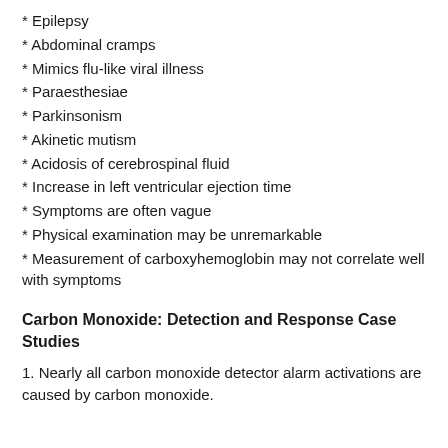* Epilepsy
* Abdominal cramps
* Mimics flu-like viral illness
* Paraesthesiae
* Parkinsonism
* Akinetic mutism
* Acidosis of cerebrospinal fluid
* Increase in left ventricular ejection time
* Symptoms are often vague
* Physical examination may be unremarkable
* Measurement of carboxyhemoglobin may not correlate well with symptoms
Carbon Monoxide: Detection and Response Case Studies
1. Nearly all carbon monoxide detector alarm activations are caused by carbon monoxide.